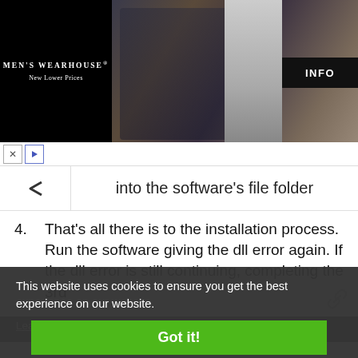[Figure (photo): Men's Wearhouse advertisement banner showing a couple in formal wear and a man in a suit, with an INFO button on the right side]
into the software's file folder
4. That's all there is to the installation process. Run the software giving the dll error again. If the dll error is still continuing, completing the 3rd
This website uses cookies to ensure you get the best experience on our website.
Learn More
Got it!